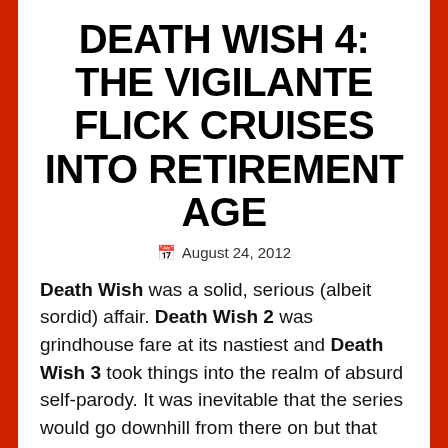DEATH WISH 4: THE VIGILANTE FLICK CRUISES INTO RETIREMENT AGE
August 24, 2012
Death Wish was a solid, serious (albeit sordid) affair. Death Wish 2 was grindhouse fare at its nastiest and Death Wish 3 took things into the realm of absurd self-parody. It was inevitable that the series would go downhill from there on but that didn't stop the go-go boys of cinema, Golan and Globus, from making a 4th installment. The end result is not as baroquely insane as Death